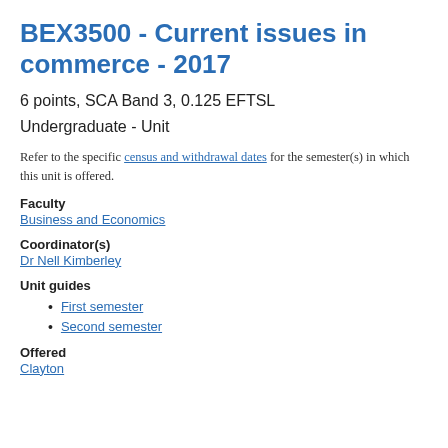BEX3500 - Current issues in commerce - 2017
6 points, SCA Band 3, 0.125 EFTSL
Undergraduate - Unit
Refer to the specific census and withdrawal dates for the semester(s) in which this unit is offered.
Faculty
Business and Economics
Coordinator(s)
Dr Nell Kimberley
Unit guides
First semester
Second semester
Offered
Clayton